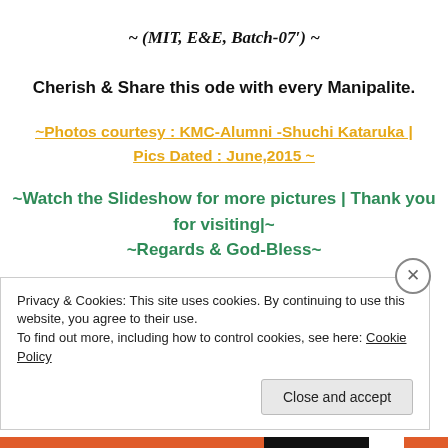~ (MIT, E&E, Batch-07') ~
Cherish & Share this ode with every Manipalite.
~Photos courtesy : KMC-Alumni -Shuchi Kataruka | Pics Dated : June,2015 ~
~Watch the Slideshow for more pictures | Thank you for visiting|~ ~Regards & God-Bless~
Privacy & Cookies: This site uses cookies. By continuing to use this website, you agree to their use. To find out more, including how to control cookies, see here: Cookie Policy
Close and accept